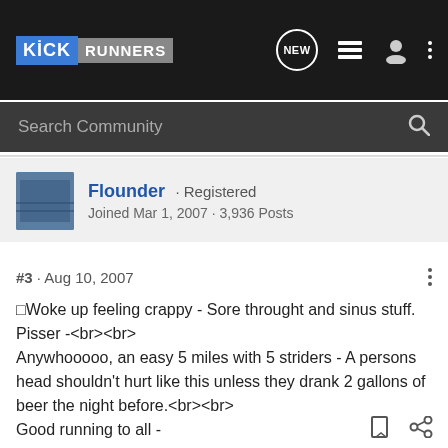[Figure (screenshot): KickRunners navigation bar with logo, NEW chat icon, list icon, user icon, and vertical dots menu]
Search Community
Flounder · Registered
Joined Mar 1, 2007 · 3,936 Posts
#3 · Aug 10, 2007
×Woke up feeling crappy - Sore throught and sinus stuff. Pisser -<br><br>
Anywhooooo, an easy 5 miles with 5 striders - A persons head shouldn't hurt like this unless they drank 2 gallons of beer the night before.<br><br>
Good running to all -